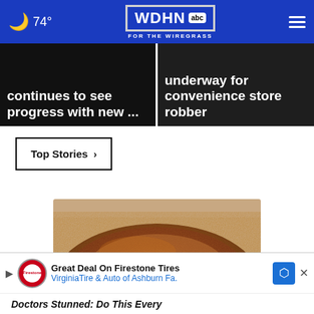74° WDHN ABC FOR THE WIREGRASS
continues to see progress with new ...
underway for convenience store robber
Top Stories ›
[Figure (photo): Close-up photo of a pile of brown spice powder (appears to be cinnamon) on a light surface]
Great Deal On Firestone Tires VirginiaTire & Auto of Ashburn Fa.
Doctors Stunned: Do This Every